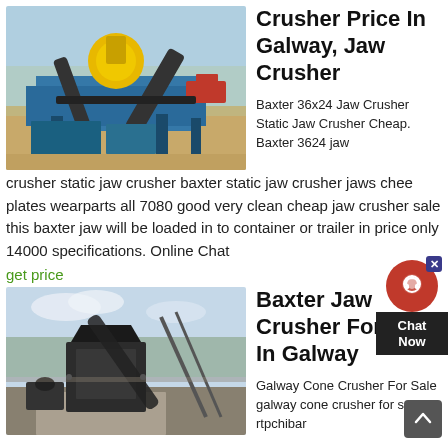[Figure (photo): Industrial jaw crusher / mining equipment on a construction site with yellow machinery, blue conveyors, and trucks in background.]
Crusher Price In Galway, Jaw Crusher
Baxter 36x24 Jaw Crusher Static Jaw Crusher Cheap. Baxter 3624 jaw crusher static jaw crusher baxter static jaw crusher jaws cheek plates wearparts all 7080 good very clean cheap jaw crusher sale this baxter jaw will be loaded in to container or trailer in price only 14000 specifications. Online Chat
get price
[Figure (photo): Jaw crusher installation at a quarry or mining site, showing a dark crusher machine on a concrete base with a conveyor belt running diagonally.]
Baxter Jaw Crusher For Sale In Galway
Galway Cone Crusher For Sale galway cone crusher for sale rtpchibar